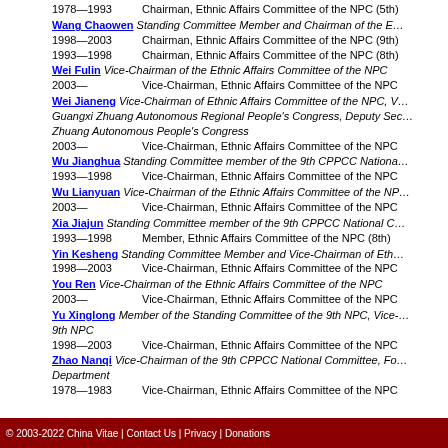1978—1993 Chairman, Ethnic Affairs Committee of the NPC (5th)
Wang Chaowen Standing Committee Member and Chairman of the Ethnic Affairs Committee of the NPC
1998—2003 Chairman, Ethnic Affairs Committee of the NPC (9th)
1993—1998 Chairman, Ethnic Affairs Committee of the NPC (8th)
Wei Fulin Vice-Chairman of the Ethnic Affairs Committee of the NPC
2003— Vice-Chairman, Ethnic Affairs Committee of the NPC
Wei Jianeng Vice-Chairman of Ethnic Affairs Committee of the NPC, Vice-Chairman of Guangxi Zhuang Autonomous Regional People's Congress, Deputy Secretary of the Guangxi Zhuang Autonomous People's Congress
2003— Vice-Chairman, Ethnic Affairs Committee of the NPC
Wu Jianghua Standing Committee member of the 9th CPPCC National Committee
1993—1998 Vice-Chairman, Ethnic Affairs Committee of the NPC
Wu Lianyuan Vice-Chairman of the Ethnic Affairs Committee of the NPC
2003— Vice-Chairman, Ethnic Affairs Committee of the NPC
Xia Jiajun Standing Committee member of the 9th CPPCC National Committee
1993—1998 Member, Ethnic Affairs Committee of the NPC (8th)
Yin Kesheng Standing Committee Member and Vice-Chairman of Ethnic Affairs Committee of the NPC
1998—2003 Vice-Chairman, Ethnic Affairs Committee of the NPC
You Ren Vice-Chairman of the Ethnic Affairs Committee of the NPC
2003— Vice-Chairman, Ethnic Affairs Committee of the NPC
Yu Xinglong Member of the Standing Committee of the 9th NPC, Vice-Chairman of the 9th NPC
1998—2003 Vice-Chairman, Ethnic Affairs Committee of the NPC
Zhao Nanqi Vice-Chairman of the 9th CPPCC National Committee, Former Head of the General Logistics Department
1978—1983 Vice-Chairman, Ethnic Affairs Committee of the NPC
© 2003-2022 China Vitae | Contact Us | Privacy | Donations